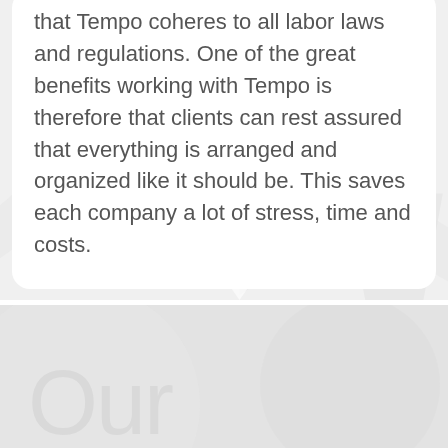that Tempo coheres to all labor laws and regulations. One of the great benefits working with Tempo is therefore that clients can rest assured that everything is arranged and organized like it should be. This saves each company a lot of stress, time and costs.
Our